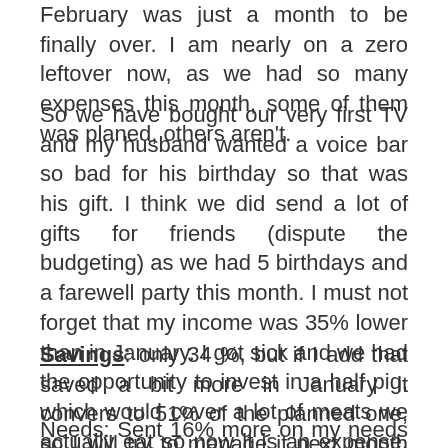February was just a month to be finally over. I am nearly on a zero leftover now, as we had so many expenses this month, some of them was planed, others aren't.
So we have bought our very first TV and my husband wanted a voice bar so bad for his birthday so that was his gift. I think we did send a lot of gifts for friends (dispute the budgeting) as we had 5 birthdays and a farewell party this month. I must not forget that my income was 35% lower than in January. I got sick and we had the opportunity to invest in a half pig, which would cover a lot of meats we actually eat so now it is an expense, but in a long term that was an investment...
Savings: only 34 %, but if I add that saved a bit more in January it convers to 51% of the planned one, so I will try to manage it next month somehow
Needs: Sent 16% more on my needs as it should had